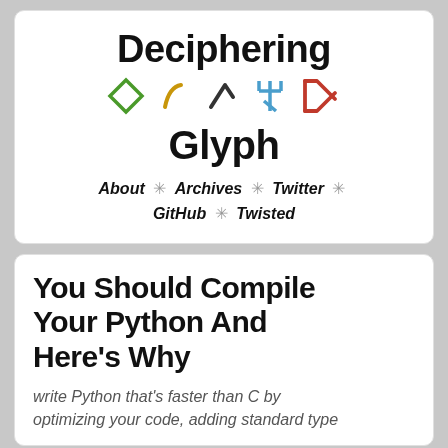Deciphering Glyph
[Figure (illustration): Five decorative glyphs/symbols in green, gold, dark, blue, and red colors]
About * Archives * Twitter * GitHub * Twisted
You Should Compile Your Python And Here’s Why
write Python that’s faster than C by optimizing your code, adding standard type